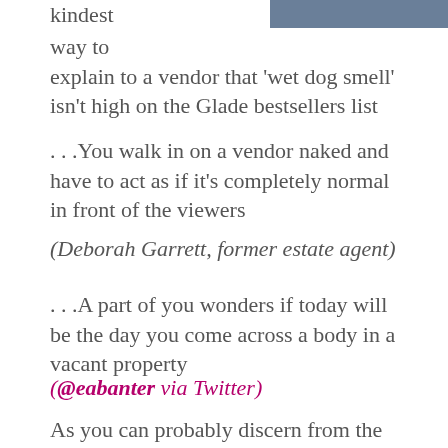kindest
way to
explain to a vendor that ‘wet dog smell’ isn’t high on the Glade bestsellers list
…You walk in on a vendor naked and have to act as if it’s completely normal in front of the viewers
(Deborah Garrett, former estate agent)
…A part of you wonders if today will be the day you come across a body in a vacant property
(@eabanter via Twitter)
As you can probably discern from the above, being an